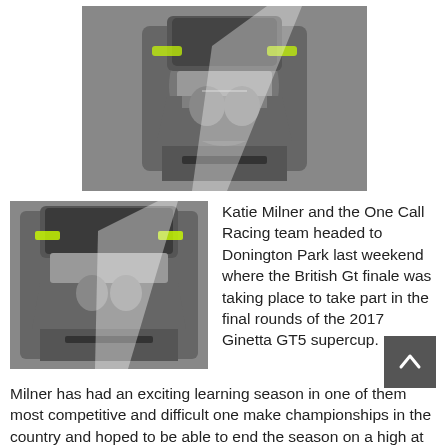[Figure (photo): Close-up photo of a racing driver in a helmet, viewed from above, dark background]
[Figure (photo): Close-up photo of a racing driver in a helmet with yellow and black accents, side view]
Katie Milner and the One Call Racing team headed to Donington Park last weekend where the British Gt finale was taking place to take part in the final rounds of the 2017 Ginetta GT5 supercup.
Milner has had an exciting learning season in one of them most competitive and difficult one make championships in the country and hoped to be able to end the season on a high at Donington.
Things got off to a great start in testing and the lap times were a match for the championship front runners.
When qualifying got underway on Saturday it was on a